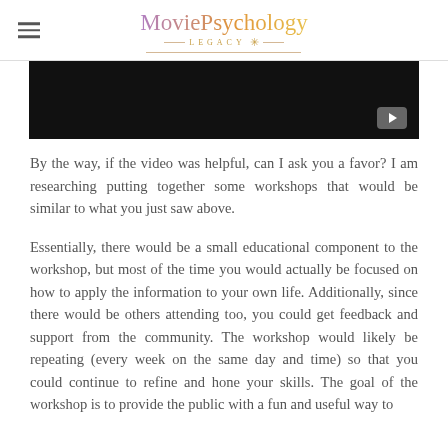MoviePsychology LEGACY
[Figure (screenshot): A black video player thumbnail with a play button icon in the bottom right corner]
By the way, if the video was helpful, can I ask you a favor? I am researching putting together some workshops that would be similar to what you just saw above.
Essentially, there would be a small educational component to the workshop, but most of the time you would actually be focused on how to apply the information to your own life. Additionally, since there would be others attending too, you could get feedback and support from the community. The workshop would likely be repeating (every week on the same day and time) so that you could continue to refine and hone your skills. The goal of the workshop is to provide the public with a fun and useful way to